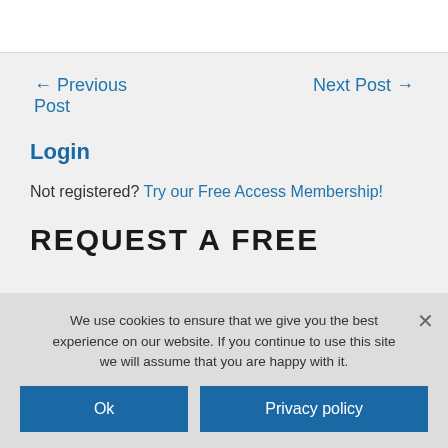← Previous Post
Next Post →
Login
Not registered? Try our Free Access Membership!
REQUEST A FREE
We use cookies to ensure that we give you the best experience on our website. If you continue to use this site we will assume that you are happy with it.